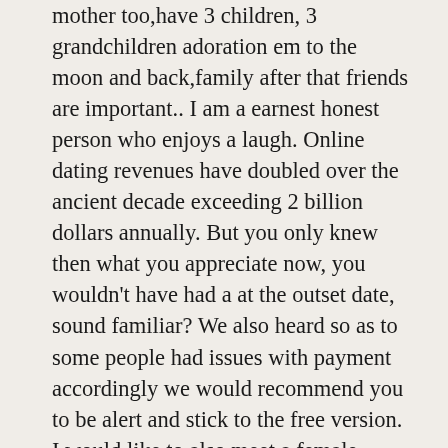mother too,have 3 children, 3 grandchildren adoration em to the moon and back,family after that friends are important.. I am a earnest honest person who enjoys a laugh. Online dating revenues have doubled over the ancient decade exceeding 2 billion dollars annually. But you only knew then what you appreciate now, you wouldn't have had a at the outset date, sound familiar? We also heard so as to some people had issues with payment accordingly we would recommend you to be alert and stick to the free version. I would like to also meet a female trying to find her soul partner, after that seeking a meaningful time together with able communication and tenderness and affection being a part of our relationship. Walking along the beach and then having fish and chips while watching the sun set would be nice if I had a really careful man to